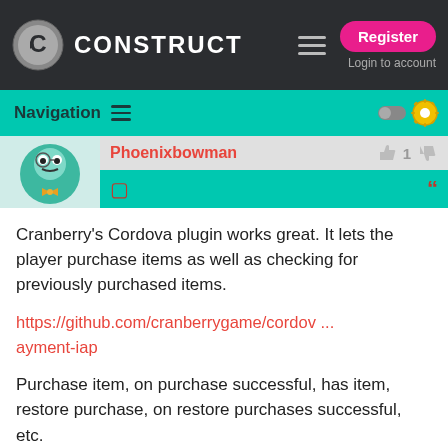[Figure (screenshot): Construct game engine website top navigation bar with logo, hamburger menu, Register button, and Login to account link on dark background]
Navigation
Phoenixbowman
Cranberry's Cordova plugin works great. It lets the player purchase items as well as checking for previously purchased items.
https://github.com/cranberrygame/cordov ... ayment-iap
Purchase item, on purchase successful, has item, restore purchase, on restore purchases successful, etc.
Googe play (I'm no sure about Apple) has a really